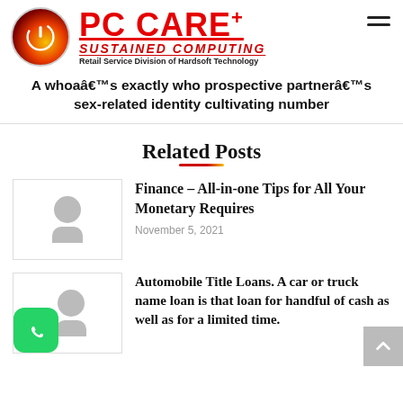PC CARE+ SUSTAINED COMPUTING — Retail Service Division of Hardsoft Technology
A whoaâ€™s exactly who prospective partnerâ€™s sex-related identity cultivating number
Related Posts
Finance – All-in-one Tips for All Your Monetary Requires
November 5, 2021
Automobile Title Loans. A car or truck name loan is that loan for handful of cash as well as for a limited time.